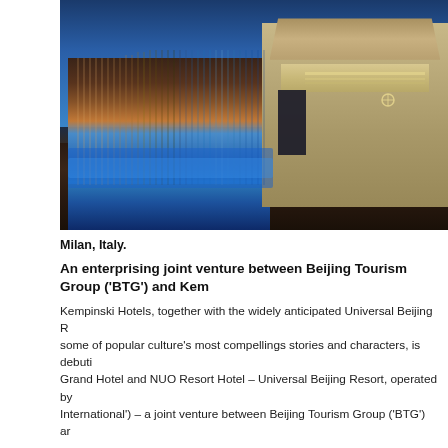[Figure (photo): Exterior nighttime photograph of a luxury hotel building with a glowing blue illuminated wall panel on the left and a traditional-style building entrance with warm golden lighting on the right, set against a deep blue twilight sky, with a stone-paved forecourt in the foreground.]
Milan, Italy.
An enterprising joint venture between Beijing Tourism Group ('BTG') and Kem…
Kempinski Hotels, together with the widely anticipated Universal Beijing R… some of popular culture's most compellings stories and characters, is debuti… Grand Hotel and NUO Resort Hotel – Universal Beijing Resort, operated by… International') – a joint venture between Beijing Tourism Group ('BTG') ar…